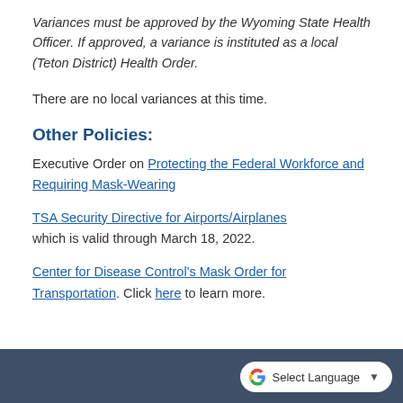Variances must be approved by the Wyoming State Health Officer. If approved, a variance is instituted as a local (Teton District) Health Order.
There are no local variances at this time.
Other Policies:
Executive Order on Protecting the Federal Workforce and Requiring Mask-Wearing
TSA Security Directive for Airports/Airplanes which is valid through March 18, 2022.
Center for Disease Control's Mask Order for Transportation. Click here to learn more.
Select Language